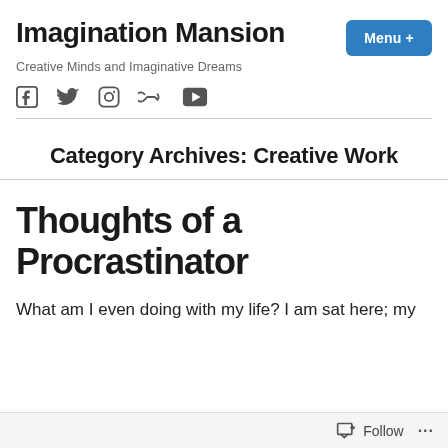Imagination Mansion
Creative Minds and Imaginative Dreams
[Figure (other): Social media icons: Facebook, Twitter, Instagram, Link, YouTube]
Category Archives: Creative Work
Thoughts of a Procrastinator
What am I even doing with my life? I am sat here; my
Follow ...